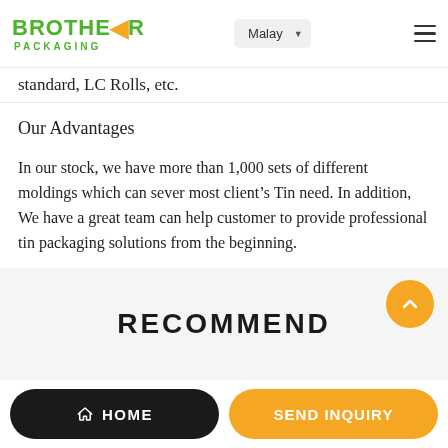[Figure (logo): Brother Packaging logo with green text and orange arrow]
standard, LC Rolls, etc.
Our Advantages
In our stock, we have more than 1,000 sets of different moldings which can sever most client’s Tin need. In addition, We have a great team can help customer to provide professional tin packaging solutions from the beginning.
RECOMMEND
HOME
SEND INQUIRY